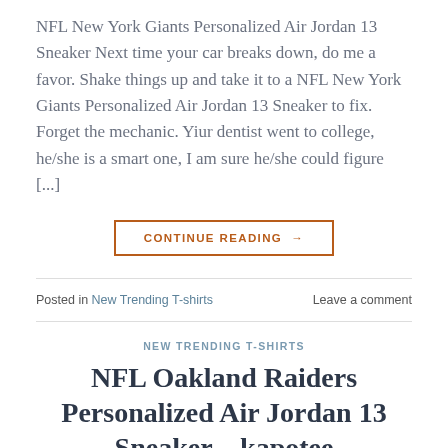NFL New York Giants Personalized Air Jordan 13 Sneaker Next time your car breaks down, do me a favor. Shake things up and take it to a NFL New York Giants Personalized Air Jordan 13 Sneaker to fix. Forget the mechanic. Yiur dentist went to college, he/she is a smart one, I am sure he/she could figure [...]
CONTINUE READING →
Posted in New Trending T-shirts   Leave a comment
NEW TRENDING T-SHIRTS
NFL Oakland Raiders Personalized Air Jordan 13 Sneaker – kapotee
POSTED ON APRIL 26, 2022 BY JOHN AADARSH